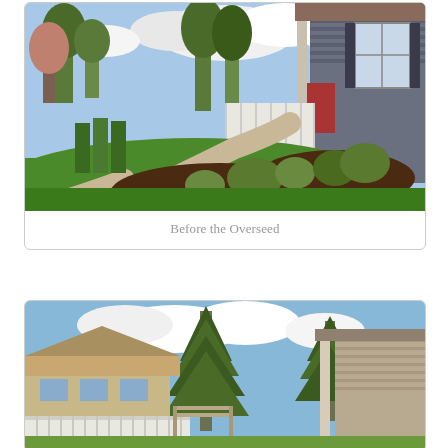[Figure (photo): Exterior photo of a house with a curved concrete walkway, green lawn, landscaped garden beds with mulch and shrubs, trees in background, and a gray house with covered porch on the right side. Blue sky with clouds visible.]
Before the Overseed
[Figure (photo): Exterior photo showing the back or side yard of a house, with large evergreen trees (firs/pines), a neighboring single-story house visible, a white fence, pergola structure, and a beige/tan house with covered porch on the right. Blue sky with clouds.]